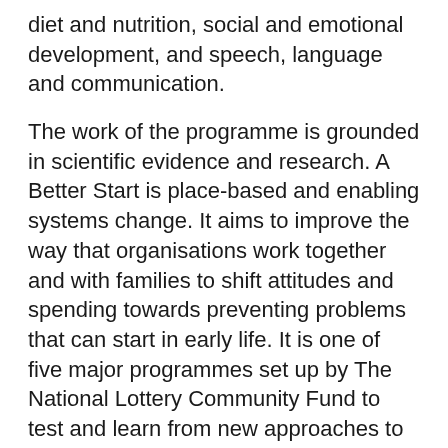diet and nutrition, social and emotional development, and speech, language and communication.
The work of the programme is grounded in scientific evidence and research. A Better Start is place-based and enabling systems change. It aims to improve the way that organisations work together and with families to shift attitudes and spending towards preventing problems that can start in early life. It is one of five major programmes set up by The National Lottery Community Fund to test and learn from new approaches to designing services which aim to make people's lives healthier and happier
The National Children's Bureau is coordinating